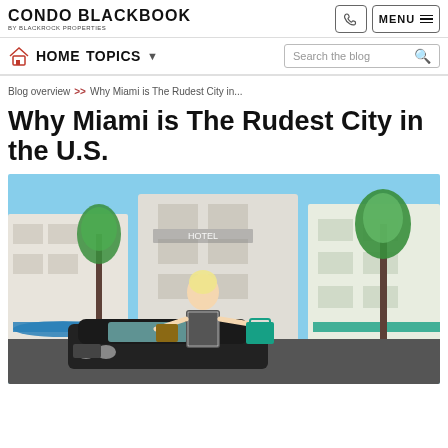CONDO BLACKBOOK BY BLACKROCK PROPERTIES
HOME  TOPICS  Search the blog
Blog overview >> Why Miami is The Rudest City in...
Why Miami is The Rudest City in the U.S.
[Figure (photo): Woman standing on a classic car on Ocean Drive Miami, South Beach hotel buildings and palm trees in background]